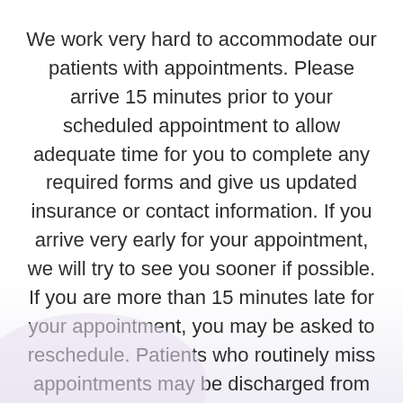We work very hard to accommodate our patients with appointments. Please arrive 15 minutes prior to your scheduled appointment to allow adequate time for you to complete any required forms and give us updated insurance or contact information. If you arrive very early for your appointment, we will try to see you sooner if possible. If you are more than 15 minutes late for your appointment, you may be asked to reschedule. Patients who routinely miss appointments may be discharged from the practice.